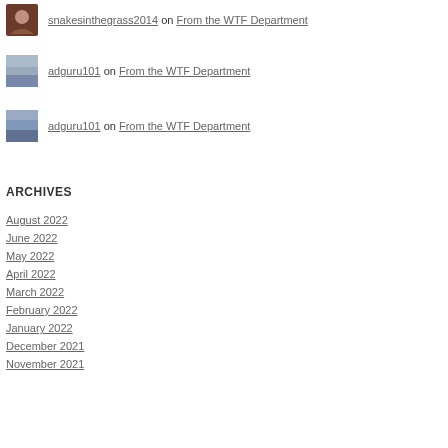snakesinthegrass2014 on From the WTF Department
adguru101 on From the WTF Department
adguru101 on From the WTF Department
ARCHIVES
August 2022
June 2022
May 2022
April 2022
March 2022
February 2022
January 2022
December 2021
November 2021